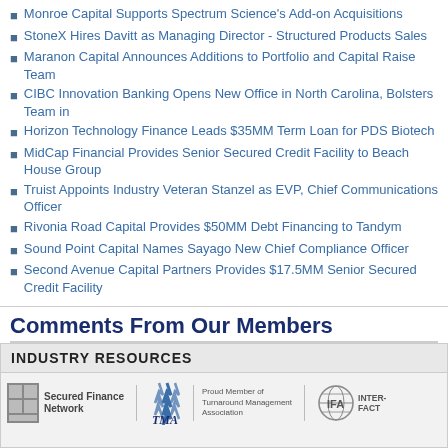Monroe Capital Supports Spectrum Science's Add-on Acquisitions
StoneX Hires Davitt as Managing Director - Structured Products Sales
Maranon Capital Announces Additions to Portfolio and Capital Raise Team
CIBC Innovation Banking Opens New Office in North Carolina, Bolsters Team in
Horizon Technology Finance Leads $35MM Term Loan for PDS Biotech
MidCap Financial Provides Senior Secured Credit Facility to Beach House Group
Truist Appoints Industry Veteran Stanzel as EVP, Chief Communications Officer
Rivonia Road Capital Provides $50MM Debt Financing to Tandym
Sound Point Capital Names Sayago New Chief Compliance Officer
Second Avenue Capital Partners Provides $17.5MM Senior Secured Credit Facility
Comments From Our Members
You must be an ABL Advisor member to post comments. Login or Join Now.
INDUSTRY RESOURCES
[Figure (logo): Secured Finance Network logo, TMA logo with Proud Member of Turnaround Management Association text, IFA International Factoring logo]